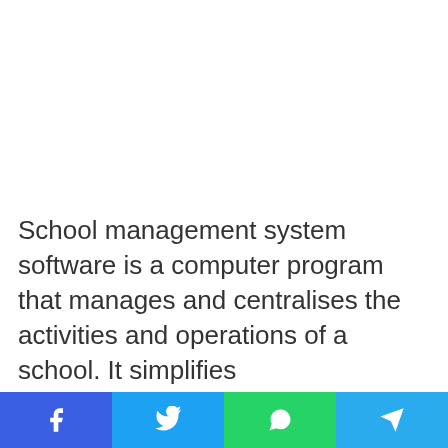School management system software is a computer program that manages and centralises the activities and operations of a school. It simplifies
Social share buttons: Facebook, Twitter, WhatsApp, Telegram